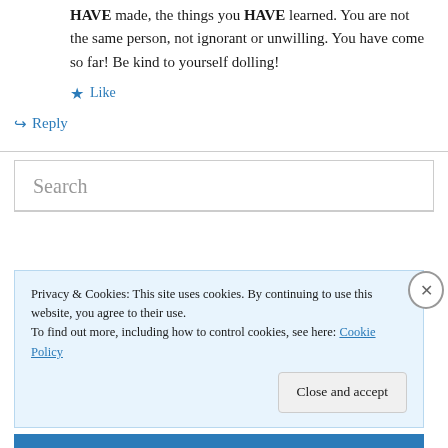HAVE made, the things you HAVE learned. You are not the same person, not ignorant or unwilling. You have come so far! Be kind to yourself dolling!
★ Like
↪ Reply
Search
Privacy & Cookies: This site uses cookies. By continuing to use this website, you agree to their use.
To find out more, including how to control cookies, see here: Cookie Policy
Close and accept